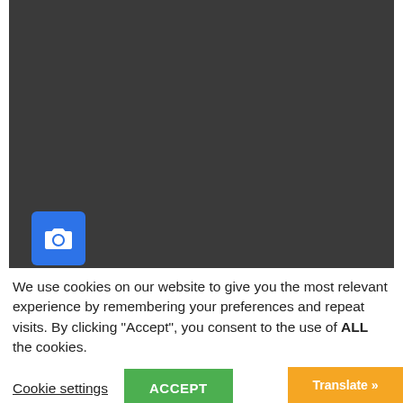[Figure (screenshot): Dark gray video/media area with a blue camera button icon in the lower-left corner]
We use cookies on our website to give you the most relevant experience by remembering your preferences and repeat visits. By clicking “Accept”, you consent to the use of ALL the cookies.
Cookie settings
ACCEPT
Translate »